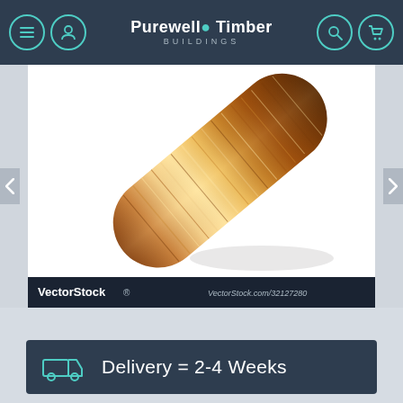Purewell Timber BUILDINGS
[Figure (photo): A wooden round timber/log pole photographed diagonally against a white background, showing wood grain texture. VectorStock watermark bar at bottom reading 'VectorStock® VectorStock.com/32127280']
Delivery = 2-4 Weeks